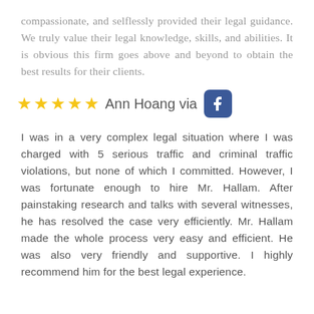compassionate, and selflessly provided their legal guidance. We truly value their legal knowledge, skills, and abilities. It is obvious this firm goes above and beyond to obtain the best results for their clients.
★★★★★ Ann Hoang via [Facebook]
I was in a very complex legal situation where I was charged with 5 serious traffic and criminal traffic violations, but none of which I committed. However, I was fortunate enough to hire Mr. Hallam. After painstaking research and talks with several witnesses, he has resolved the case very efficiently. Mr. Hallam made the whole process very easy and efficient. He was also very friendly and supportive. I highly recommend him for the best legal experience.